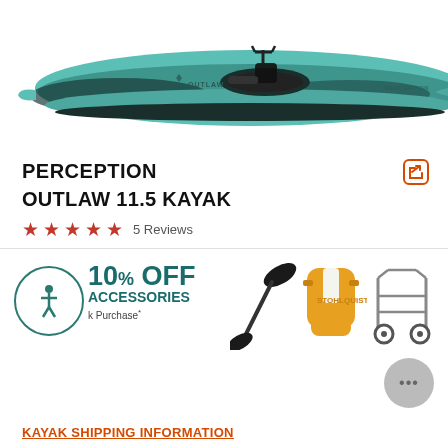[Figure (photo): Side view of a teal/black swirl patterned Perception Outlaw 11.5 fishing kayak with pedal drive and seat, on white background]
PERCEPTION
OUTLAW 11.5 KAYAK
★★★★★ 5 Reviews
[Figure (infographic): 10% OFF ACCESSORIES with Kayak Purchase* promotional banner with images of a paddle, life vest, and kayak cart. Includes accessibility icon circle.]
KAYAK SHIPPING INFORMATION